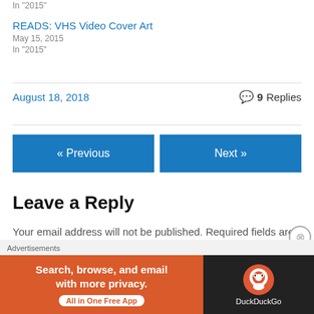In "2015"
READS: VHS Video Cover Art
May 15, 2015
In "2015"
August 18, 2018    💬 9 Replies
« Previous    Next »
Leave a Reply
Your email address will not be published. Required fields are marked *
[Figure (other): Advertisement banner for DuckDuckGo: 'Search, browse, and email with more privacy. All in One Free App' with DuckDuckGo logo on dark background.]